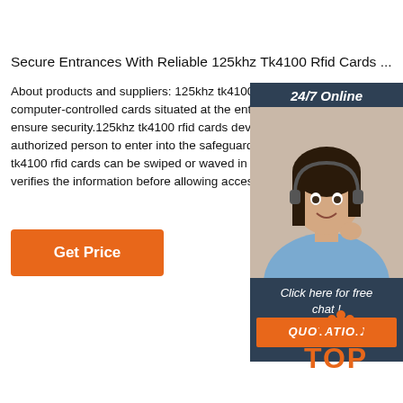Secure Entrances With Reliable 125khz Tk4100 Rfid Cards ...
About products and suppliers: 125khz tk4100 rfid cards are computer-controlled cards situated at the entrances to ensure security.125khz tk4100 rfid cards devices en authorized person to enter into the safeguarded are tk4100 rfid cards can be swiped or waved in front of then verifies the information before allowing access.
[Figure (photo): Customer service representative smiling, with headset, overlaid on dark navy chat widget showing '24/7 Online', 'Click here for free chat!', and an orange QUOTATION button]
[Figure (logo): Orange TOP logo with dots arranged in an arc above the word TOP in orange letters]